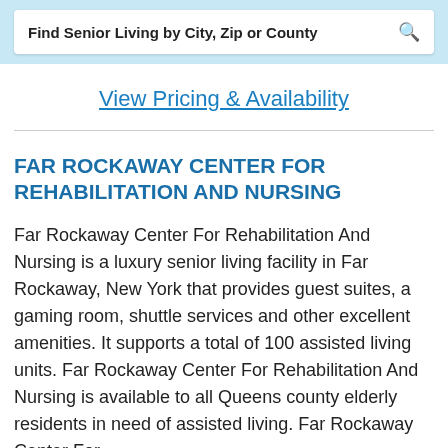Find Senior Living by City, Zip or County
View Pricing & Availability
FAR ROCKAWAY CENTER FOR REHABILITATION AND NURSING
Far Rockaway Center For Rehabilitation And Nursing is a luxury senior living facility in Far Rockaway, New York that provides guest suites, a gaming room, shuttle services and other excellent amenities. It supports a total of 100 assisted living units. Far Rockaway Center For Rehabilitation And Nursing is available to all Queens county elderly residents in need of assisted living. Far Rockaway Center For